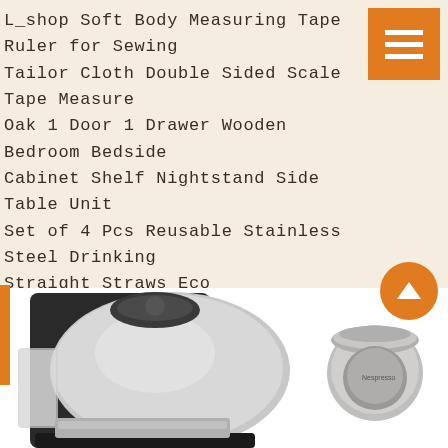L_shop Soft Body Measuring Tape Ruler for Sewing Tailor Cloth Double Sided Scale Tape Measure Oak 1 Door 1 Drawer Wooden Bedroom Bedside Cabinet Shelf Nightstand Side Table Unit Set of 4 Pcs Reusable Stainless Steel Drinking Straight Straws Eco Environmentally Friendly Colored Stainless Steel Straws with 1 Long Cleaning Brushes and a Black Fabric Bag
Nespresso Vertuo Next by Magimix 11706 White
[Figure (photo): Nespresso Vertuo Next coffee machine in chrome/black finish with a Nespresso capsule visible on the right side, photographed against white background]